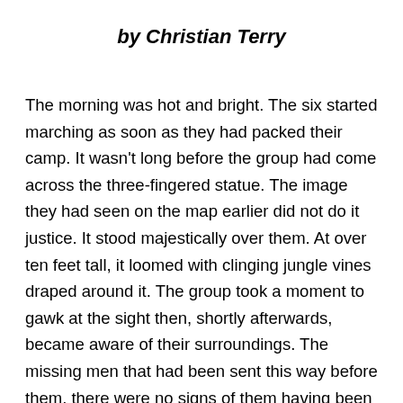by Christian Terry
The morning was hot and bright. The six started marching as soon as they had packed their camp. It wasn't long before the group had come across the three-fingered statue. The image they had seen on the map earlier did not do it justice. It stood majestically over them. At over ten feet tall, it loomed with clinging jungle vines draped around it. The group took a moment to gawk at the sight then, shortly afterwards, became aware of their surroundings. The missing men that had been sent this way before them, there were no signs of them having been this far. No footprints or any type of trails were left